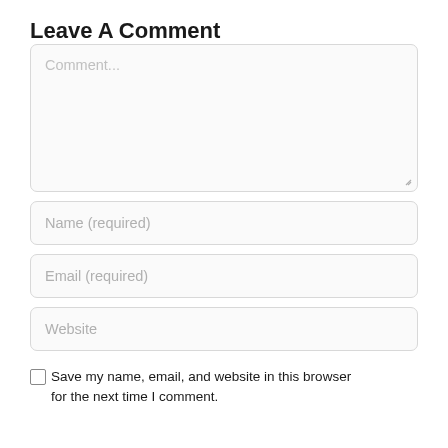Leave A Comment
[Figure (screenshot): Web comment form with textarea placeholder 'Comment...', input fields for Name (required), Email (required), Website, and a checkbox row reading 'Save my name, email, and website in this browser for the next time I comment.']